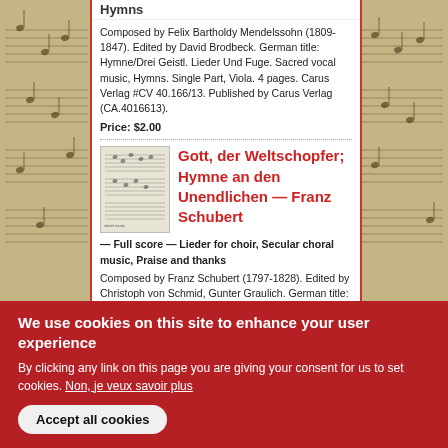Hymns
Composed by Felix Bartholdy Mendelssohn (1809-1847). Edited by David Brodbeck. German title: Hymne/Drei Geistl. Lieder Und Fuge. Sacred vocal music, Hymns. Single Part, Viola. 4 pages. Carus Verlag #CV 40.166/13. Published by Carus Verlag (CA.4016613).
Price: $2.00
Gott, der Weltschopfer; Hymne an den Unendlichen — Franz Schubert
— Full score — Lieder for choir, Secular choral music, Praise and thanks
Composed by Franz Schubert (1797-1828). Edited by Christoph von Schmid, Gunter Graulich. German title: Gott,
We use cookies on this site to enhance your user experience
By clicking any link on this page you are giving your consent for us to set cookies. Non, je veux savoir plus
Accept all cookies